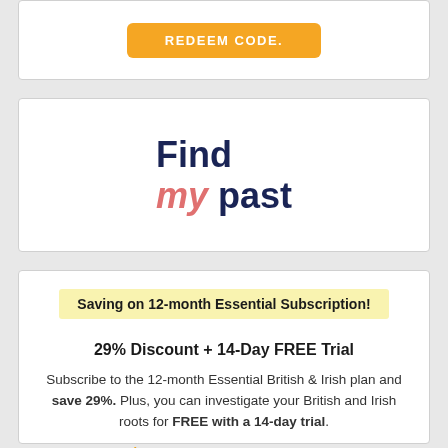[Figure (other): Orange REDEEM CODE button at top of card]
[Figure (logo): Findmypast logo: Find my past in dark blue and pink italic text]
Saving on 12-month Essential Subscription!
29% Discount + 14-Day FREE Trial
Subscribe to the 12-month Essential British & Irish plan and save 29%. Plus, you can investigate your British and Irish roots for FREE with a 14-day trial.
862 users used this coupon